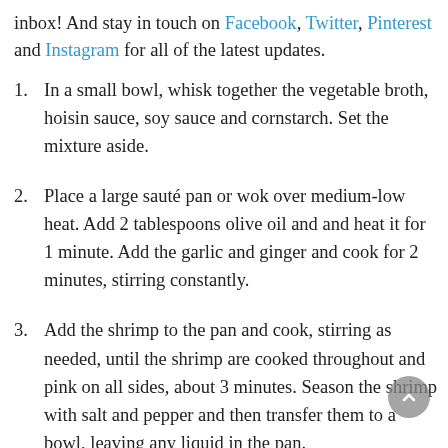inbox! And stay in touch on Facebook, Twitter, Pinterest and Instagram for all of the latest updates.
In a small bowl, whisk together the vegetable broth, hoisin sauce, soy sauce and cornstarch. Set the mixture aside.
Place a large sauté pan or wok over medium-low heat. Add 2 tablespoons olive oil and and heat it for 1 minute. Add the garlic and ginger and cook for 2 minutes, stirring constantly.
Add the shrimp to the pan and cook, stirring as needed, until the shrimp are cooked throughout and pink on all sides, about 3 minutes. Season the shrimp with salt and pepper and then transfer them to a bowl, leaving any liquid in the pan.